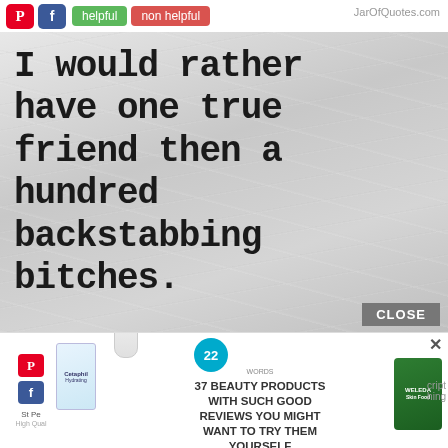[Figure (screenshot): Website screenshot showing a quote image with social sharing buttons (Pinterest, Facebook), helpful/non helpful vote buttons, and JarOfQuotes.com logo at top. The main image shows a crumpled paper background with handwritten-style text reading: I would rather have one true friend then a hundred backstabbing bitches. A CLOSE button appears at the bottom right of the image. Below is an advertisement for '37 BEAUTY PRODUCTS WITH SUCH GOOD REVIEWS YOU MIGHT WANT TO TRY THEM YOURSELF' featuring Cetaphil and Weleda product images, with social share buttons on the left.]